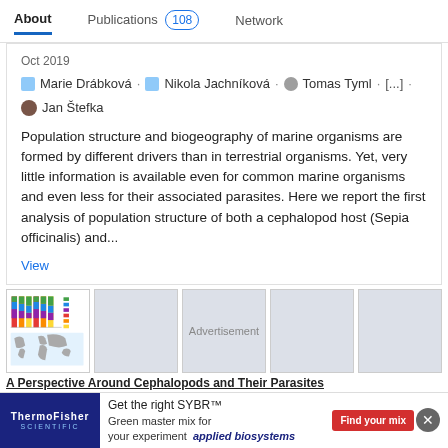About   Publications 108   Network
Oct 2019
Marie Drábková · Nikola Jachníková · Tomas Tyml · [...] · Jan Štefka
Population structure and biogeography of marine organisms are formed by different drivers than in terrestrial organisms. Yet, very little information is available even for common marine organisms and even less for their associated parasites. Here we report the first analysis of population structure of both a cephalopod host (Sepia officinalis) and...
View
[Figure (other): Thumbnail of a stacked bar chart figure and a world map from the publication]
[Figure (other): Placeholder gray thumbnail 2]
[Figure (other): Placeholder gray thumbnail 3]
[Figure (other): Placeholder gray thumbnail 4]
[Figure (other): Placeholder gray thumbnail 5]
Advertisement
A Perspective Around Cephalopods and Their Parasites
ThermoFisher SCIENTIFIC — Get the right SYBR™ Green master mix for your experiment — Find your mix — applied biosystems